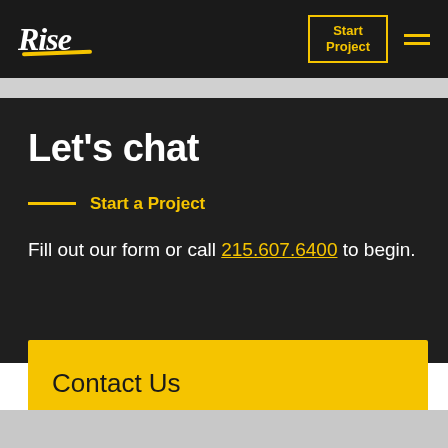Rise — Start Project navigation bar
Let's chat
Start a Project
Fill out our form or call 215.607.6400 to begin.
Contact Us